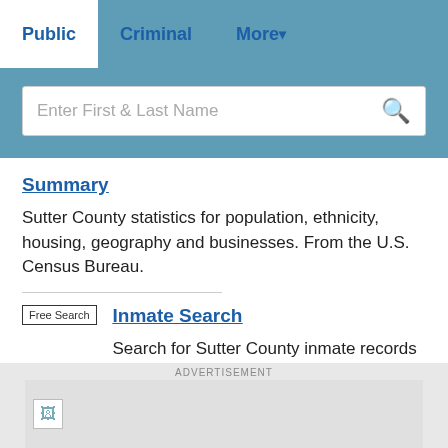Public | Criminal | More
Enter First & Last Name
Summary
Sutter County statistics for population, ethnicity, housing, geography and businesses. From the U.S. Census Bureau.
Inmate Search
Free Search
Search for Sutter County inmate records through Vinelink by agency and offender ID or name. Details include offender name, date of birth, offender ID, custody status, reporting agency, current location, and scheduled
ADVERTISEMENT